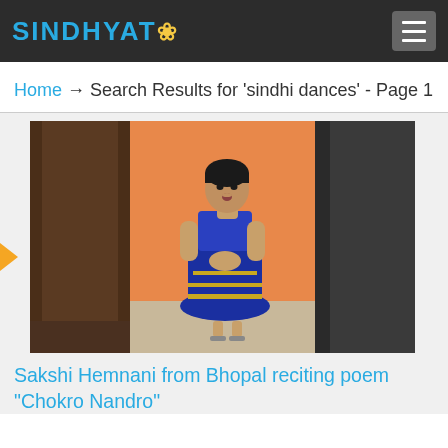SINDHYAT 🌸
Home → Search Results for 'sindhi dances' - Page 1
[Figure (photo): A young girl wearing a royal blue embroidered lehenga/anarkali outfit standing in front of an orange wall, with hands clasped together, mouth open as if reciting or singing.]
Sakshi Hemnani from Bhopal reciting poem "Chokro Nandro"